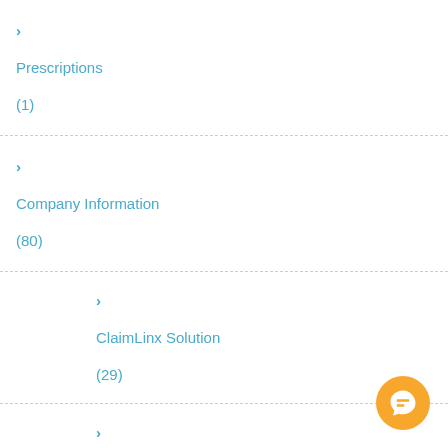Prescriptions (1)
Company Information (80)
ClaimLinx Solution (29)
Company Updates (25)
Partnerships (5)
Dental Insurance (2)
Education (68)
Administrator Information (13)
Employer-Sponsored Health Insurance (22)
Member Information (21)